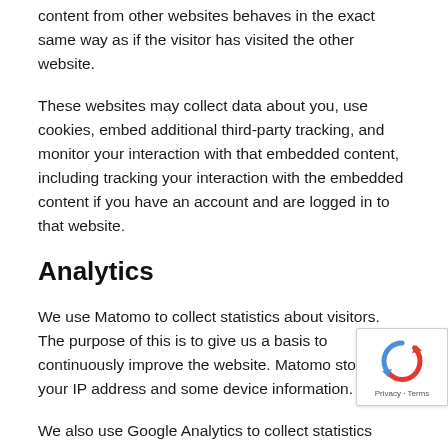content from other websites behaves in the exact same way as if the visitor has visited the other website.
These websites may collect data about you, use cookies, embed additional third-party tracking, and monitor your interaction with that embedded content, including tracking your interaction with the embedded content if you have an account and are logged in to that website.
Analytics
We use Matomo to collect statistics about visitors. The purpose of this is to give us a basis to continuously improve the website. Matomo stores your IP address and some device information.
We also use Google Analytics to collect statistics about visitors. The purpose of this is to give us a